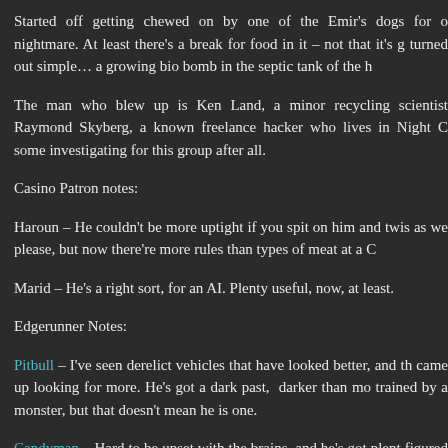Started off getting chewed on by one of the Emir's dogs for o nightmare. At least there's a break for food in it – not that it's g turned out simple… a growing bio bomb in the septic tank of the h
The man who blew up is Ken Land, a minor recycling scientist Raymond Skyberg, a known freelance hacker who lives in Night C some investigating for this group after all.
Casino Patron notes:
Haroun – He couldn't be more uptight if you spit on him and twis as we please, but now there're more rules than types of meat at a C
Marid – He's a right sort, for an AI. Plenty useful, now, at least.
Edgerunner Notes:
Pitbull – I've seen derelict vehicles that have looked better, and th came up looking for more. He's got a dark past, darker than mo trained by a monster, but that doesn't mean he is one.
Candyman – Hard to be upset with the brains, and he's got plent figured they were creating ANEO producing bacteria. I just th